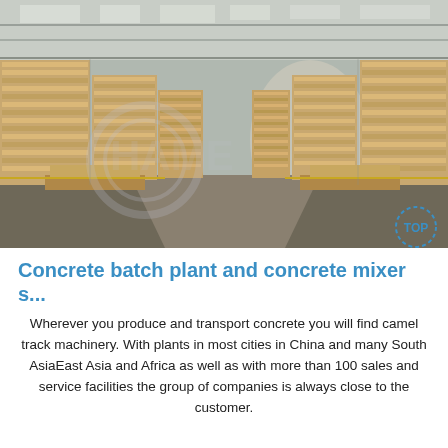[Figure (photo): Wide-angle warehouse interior photograph showing long aisles of tall stacked cardboard/wood pallets and flat-packed panel materials lined up on both sides under a large steel-frame roof. The perspective leads to the far end of the warehouse. A watermark logo is visible in the center of the image.]
Concrete batch plant and concrete mixer s...
Wherever you produce and transport concrete you will find camel track machinery. With plants in most cities in China and many South AsiaEast Asia and Africa as well as with more than 100 sales and service facilities the group of companies is always close to the customer.